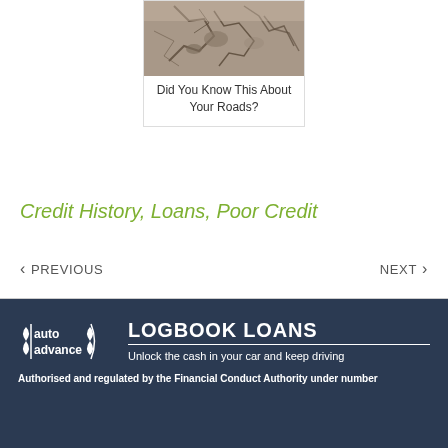[Figure (photo): Cracked road surface photo inside a card]
Did You Know This About Your Roads?
Credit History, Loans, Poor Credit
< PREVIOUS
NEXT >
[Figure (logo): Auto Advance Logbook Loans logo with tagline: Unlock the cash in your car and keep driving]
Authorised and regulated by the Financial Conduct Authority under number